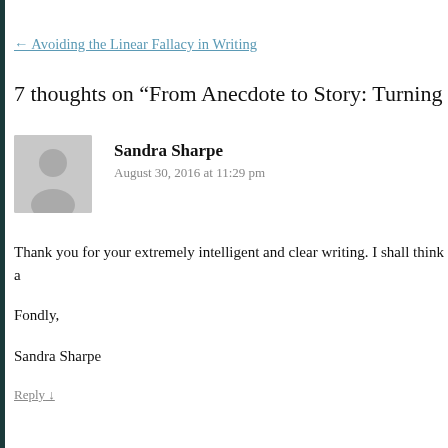← Avoiding the Linear Fallacy in Writing
7 thoughts on “From Anecdote to Story: Turning Life into Liter…”
Sandra Sharpe
August 30, 2016 at 11:29 pm
Thank you for your extremely intelligent and clear writing. I shall think a…
Fondly,
Sandra Sharpe
Reply ↓